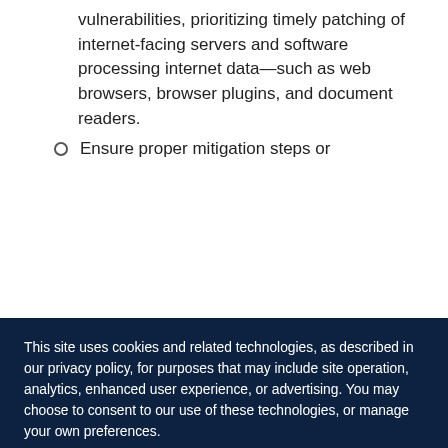vulnerabilities, prioritizing timely patching of internet-facing servers and software processing internet data—such as web browsers, browser plugins, and document readers.
Ensure proper mitigation steps or
This site uses cookies and related technologies, as described in our privacy policy, for purposes that may include site operation, analytics, enhanced user experience, or advertising. You may choose to consent to our use of these technologies, or manage your own preferences.
MANAGE SETTINGS
ACCEPT
DECLINE ALL